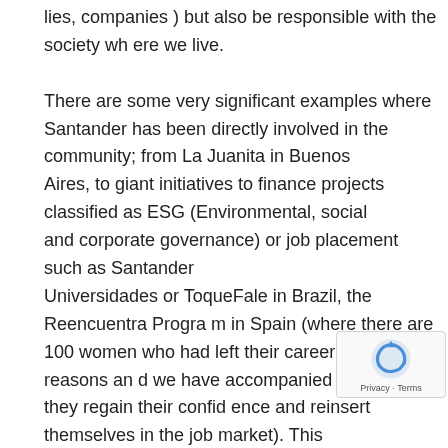lies, companies ) but also be responsible with the society where we live.

There are some very significant examples where Santander has been directly involved in the community; from La Juanita in Buenos Aires, to giant initiatives to finance projects classified as ESG (Environmental, social and corporate governance) or job placement such as Santander Universidades or ToqueFale in Brazil, the Reencuentra Program in Spain (where there are 100 women who had left their career for personal reasons and we have accompanied them so that they regain their confidence and reinsert themselves in the job market). This most 38 thousand employees of Santander participate unteering activities, reflecting our mission to help the